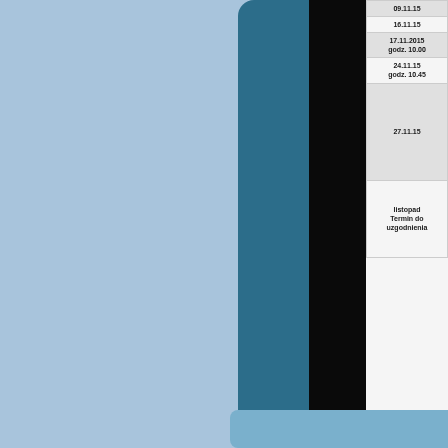| Data |
| --- |
| 09.11.15 |
| 16.11.15 |
| 17.11.2015
godz. 10.00 |
| 24.11.15
godz. 10.45 |
| 27.11.15 |
| listopad
Termin do
uzgodnienia |
KALENDARZ DO POBR